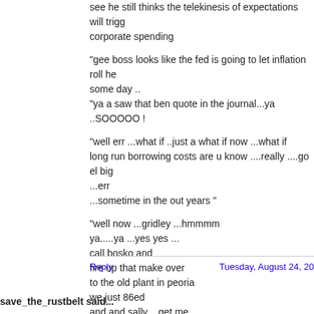see he still thinks the telekinesis of expectations will trigger corporate spending
"gee boss looks like the fed is going to let inflation roll he some day ..
"ya a saw that ben quote in the journal...ya ..SOOOOO !
"well err ...what if ..just a what if now ...what if
long run borrowing costs are u know ....really ....go el big
...err
...sometime in the out years "
"well now ...gridley ...hmmmm
ya.....ya ...yes yes ...
call bosko and
fire up that make over
to the old plant in peoria
we just 86ed
and and sally ...get me
what's his name
that idiot pin stripe hosehead over at goldman "
Reply
Tuesday, August 24, 20
save_the_rustbelt said...